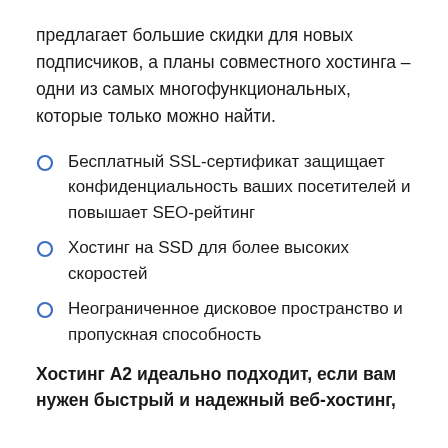предлагает большие скидки для новых подписчиков, а планы совместного хостинга – одни из самых многофункциональных, которые только можно найти.
Бесплатный SSL-сертификат защищает конфиденциальность ваших посетителей и повышает SEO-рейтинг
Хостинг на SSD для более высоких скоростей
Неограниченное дисковое пространство и пропускная способность
Хостинг A2 идеально подходит, если вам нужен быстрый и надежный веб-хостинг,